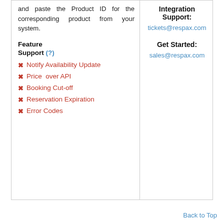and paste the Product ID for the corresponding product from your system.
Feature Support (?)
✗ Notify Availability Update
✗ Price over API
✗ Booking Cut-off
✗ Reservation Expiration
✗ Error Codes
Integration Support:
tickets@respax.com
Get Started:
sales@respax.com
Back to Top